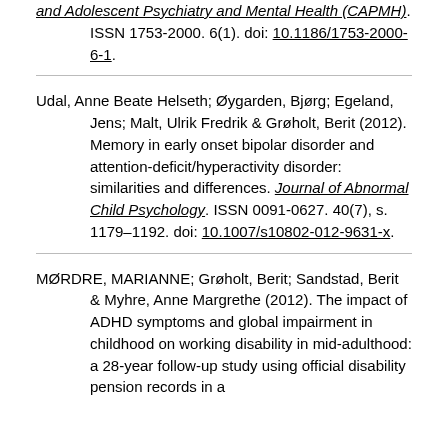and Adolescent Psychiatry and Mental Health (CAPMH). ISSN 1753-2000. 6(1). doi: 10.1186/1753-2000-6-1.
Udal, Anne Beate Helseth; Øygarden, Bjørg; Egeland, Jens; Malt, Ulrik Fredrik & Grøholt, Berit (2012). Memory in early onset bipolar disorder and attention-deficit/hyperactivity disorder: similarities and differences. Journal of Abnormal Child Psychology. ISSN 0091-0627. 40(7), s. 1179–1192. doi: 10.1007/s10802-012-9631-x.
MØRDRE, MARIANNE; Grøholt, Berit; Sandstad, Berit & Myhre, Anne Margrethe (2012). The impact of ADHD symptoms and global impairment in childhood on working disability in mid-adulthood: a 28-year follow-up study using official disability pension records in a